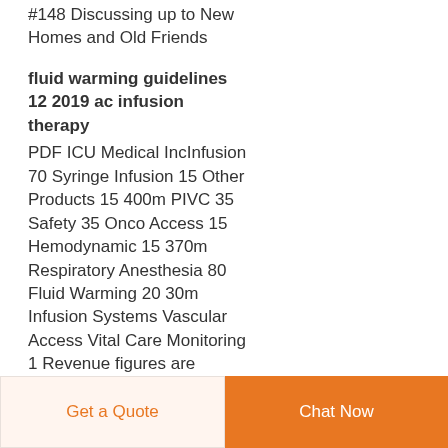#148 Discussing up to New Homes and Old Friends
fluid warming guidelines 12 2019 ac infusion therapy
PDF ICU Medical IncInfusion 70 Syringe Infusion 15 Other Products 15 400m PIVC 35 Safety 35 Onco Access 15 Hemodynamic 15 370m Respiratory Anesthesia 80 Fluid Warming 20 30m Infusion Systems Vascular Access Vital Care Monitoring 1 Revenue figures are unaudited and reflect non GAAP results for the most recently reported 12 month
Get a Quote   Chat Now